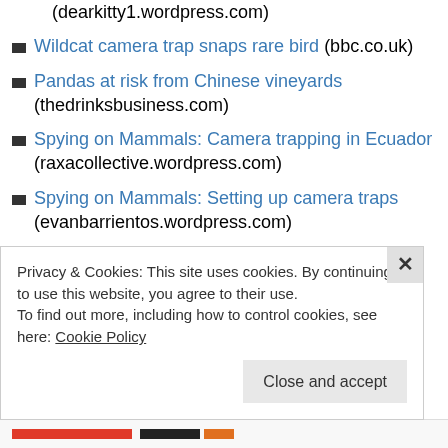(dearkitty1.wordpress.com)
Wildcat camera trap snaps rare bird (bbc.co.uk)
Pandas at risk from Chinese vineyards (thedrinksbusiness.com)
Spying on Mammals: Camera trapping in Ecuador (raxacollective.wordpress.com)
Spying on Mammals: Setting up camera traps (evanbarrientos.wordpress.com)
Spain-born panda twins return to China (wantchinatimes.com)
Scottish golden eagle on camera trap
Privacy & Cookies: This site uses cookies. By continuing to use this website, you agree to their use. To find out more, including how to control cookies, see here: Cookie Policy
Close and accept